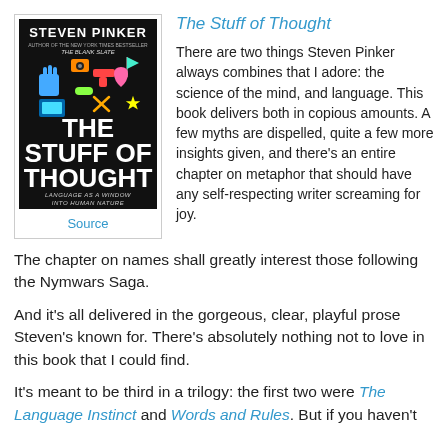[Figure (illustration): Book cover of 'The Stuff of Thought' by Steven Pinker with colorful icons on dark background. Subtitle: Language as a Window into Human Nature.]
Source
The Stuff of Thought
There are two things Steven Pinker always combines that I adore: the science of the mind, and language. This book delivers both in copious amounts. A few myths are dispelled, quite a few more insights given, and there's an entire chapter on metaphor that should have any self-respecting writer screaming for joy.
The chapter on names shall greatly interest those following the Nymwars Saga.
And it's all delivered in the gorgeous, clear, playful prose Steven's known for. There's absolutely nothing not to love in this book that I could find.
It's meant to be third in a trilogy: the first two were The Language Instinct and Words and Rules. But if you haven't